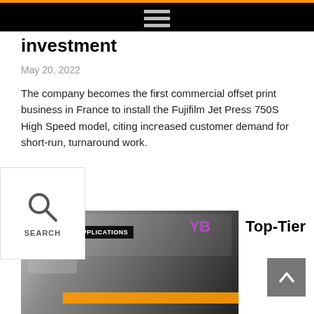investment
May 20, 2022
The company becomes the first commercial offset print business in France to install the Fujifilm Jet Press 750S High Speed model, citing increased customer demand for short-run, turnaround work.
[Figure (photo): Search overlay UI element with magnifying glass icon and SEARCH label]
[Figure (photo): Interior of a commercial printing facility showing large format inkjet press equipment with orange accents; overlaid with FEATURES/APPLICATIONS tag]
Top-Tier